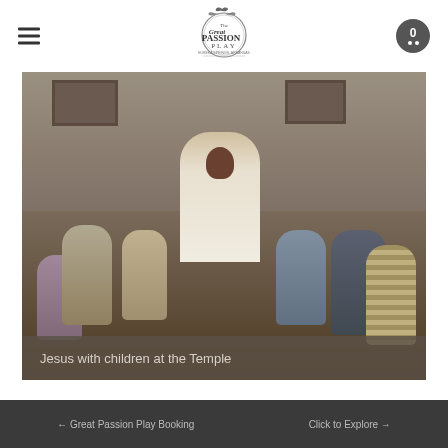Great Passion Play - navigation header with hamburger menu, logo, and cart icon
[Figure (photo): Photo of a person dressed as Jesus with long dark hair and white robes seated among several children dressed in biblical-era costumes, on stone steps in front of a building]
Jesus with children at the Temple
Great Passion Play Booking | Click to Explore